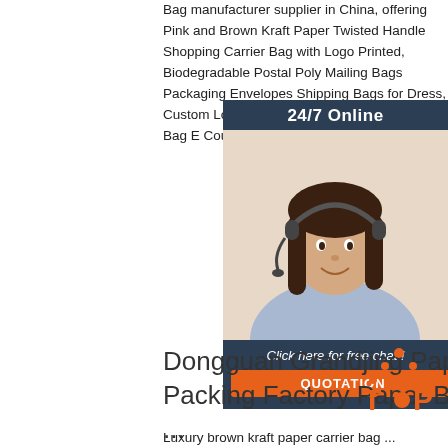Bag manufacturer supplier in China, offering Pink and Brown Kraft Paper Twisted Handle Shopping Carrier Bag with Logo Printed, Biodegradable Postal Poly Mailing Bags Packaging Envelopes Shipping Bags for Dress, Custom Logo Printed Bag Compostable Mail Bag E Courier Mailing Packaging Ba on.
[Figure (infographic): 24/7 Online chat widget with woman wearing headset, 'Click here for free chat!' text, and orange QUOTATION button]
Get Price
Dongguan Grandjing Paper Packing Factory Paper Bag ...
[Figure (logo): TOP badge logo with orange dots forming triangle]
Luxury brown kraft paper carrier bag ...